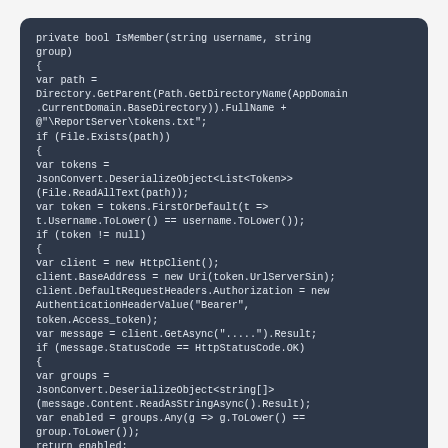[Figure (screenshot): Code block showing C# IsMember method with dark background]
With the user token we can retrieve the user groups